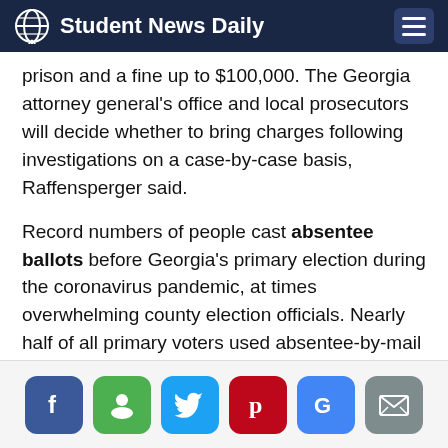Student News Daily
prison and a fine up to $100,000. The Georgia attorney general's office and local prosecutors will decide whether to bring charges following investigations on a case-by-case basis, Raffensperger said.
Record numbers of people cast absentee ballots before Georgia's primary election during the coronavirus pandemic, at times overwhelming county election officials. Nearly half of all primary voters used absentee-by-mail ballots, up from about 5% of voters who typically cast absentee ballots in state elections.
[Figure (other): Social sharing buttons row: Facebook, Google Plus, Twitter, Pinterest, Google, Email]